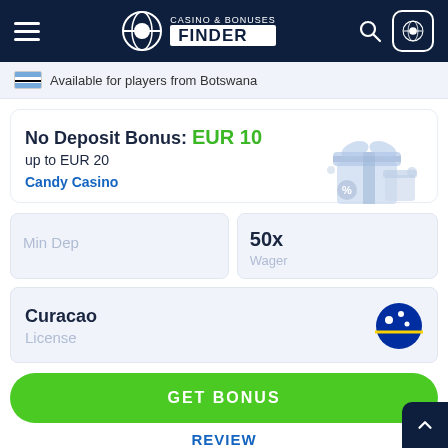Casino & Bonuses Finder
Available for players from Botswana
No Deposit Bonus: EUR 10
up to EUR 20
Candy Casino
| Min Dep | Wager |
| --- | --- |
|  | 50x |
Curacao
License
GET BONUS
REVIEW
Bonus Code
Not Required
User feedback